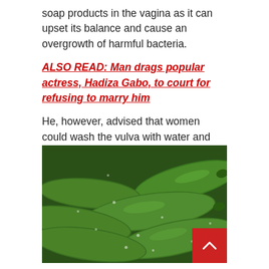soap products in the vagina as it can upset its balance and cause an overgrowth of harmful bacteria.
ALSO READ: Man drags popular actress, Hadiza Gabo, to court for refusing to marry him
He, however, advised that women could wash the vulva with water and unscented soap.
[Figure (photo): A pile of fresh green cucumbers with water droplets on them, photographed close-up.]